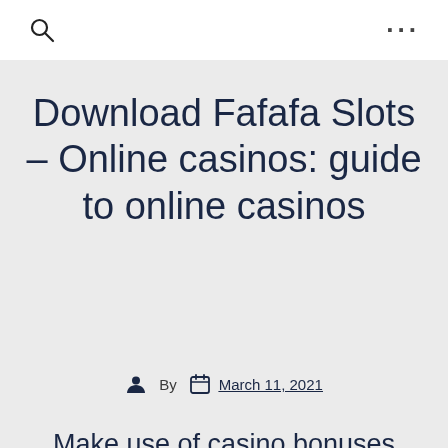Download Fafafa Slots – Online casinos: guide to online casinos
By March 11, 2021
Make use of casino bonuses